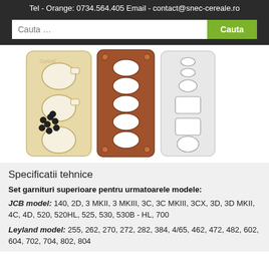Tel - Orange: 0734.564.405 Email - contact@snec-cereale.ro
[Figure (photo): Product photo showing a set of engine gaskets: a head gasket sheet, intake/exhaust manifold gaskets in copper/brown color, and various smaller gaskets and seals laid out on white background.]
Specificatii tehnice
Set garnituri superioare pentru urmatoarele modele:
JCB model: 140, 2D, 3 MKII, 3 MKIII, 3C, 3C MKIII, 3CX, 3D, 3D MKII, 4C, 4D, 520, 520HL, 525, 530, 530B - HL, 700
Leyland model: 255, 262, 270, 272, 282, 384, 4/65, 462, 472, 482, 602, 604, 702, 704, 802, 804